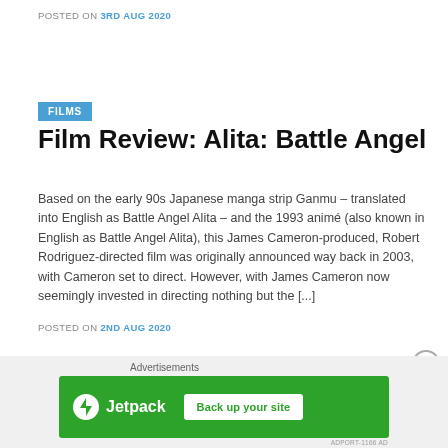POSTED ON 3RD AUG 2020
FILMS
Film Review: Alita: Battle Angel
Based on the early 90s Japanese manga strip Ganmu – translated into English as Battle Angel Alita – and the 1993 animé (also known in English as Battle Angel Alita), this James Cameron-produced, Robert Rodriguez-directed film was originally announced way back in 2003, with Cameron set to direct. However, with James Cameron now seemingly invested in directing nothing but the [...]
POSTED ON 2ND AUG 2020
[Figure (other): Jetpack advertisement banner with 'Back up your site' button]